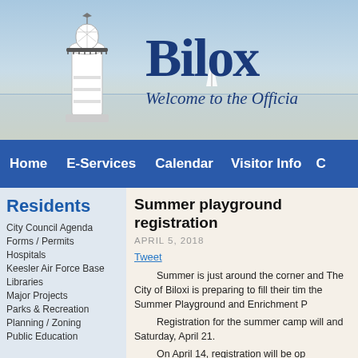[Figure (screenshot): Biloxi city website header banner with lighthouse image on left, 'Biloxi' text in large dark blue serif font, and italic subtitle 'Welcome to the Officia' on right, over a coastal sky/beach gradient background]
Home | E-Services | Calendar | Visitor Info | C
Residents
City Council Agenda
Forms / Permits
Hospitals
Keesler Air Force Base
Libraries
Major Projects
Parks & Recreation
Planning / Zoning
Public Education
Summer playground registration
APRIL 5, 2018
Tweet
Summer is just around the corner and The City of Biloxi is preparing to fill their time with the Summer Playground and Enrichment P
Registration for the summer camp will and Saturday, April 21.
On April 14, registration will be op